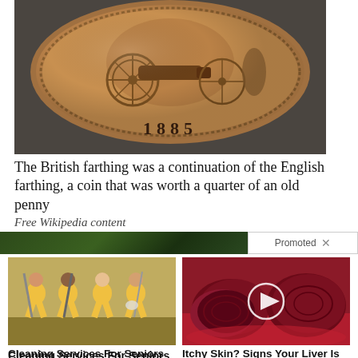[Figure (photo): Close-up of a British farthing coin from 1885, showing the reverse side with a cannon/wheel design and the date '1885' engraved at the bottom. The coin has a brownish copper color against a dark gray background.]
The British farthing was a continuation of the English farthing, a coin that was worth a quarter of an old penny
Free Wikipedia content
Promoted X
[Figure (photo): Four women in yellow uniforms holding cleaning equipment, smiling at the camera. Advertisement for cleaning services.]
Cleaning Services For Seniors — You Won't Believe The Prices
🔥 6,039
[Figure (photo): Close-up of sliced red beets on a red plate with a video play button overlay. Advertisement related to itchy skin and liver health.]
Itchy Skin? Signs Your Liver Is In Trouble
🔥 2,071